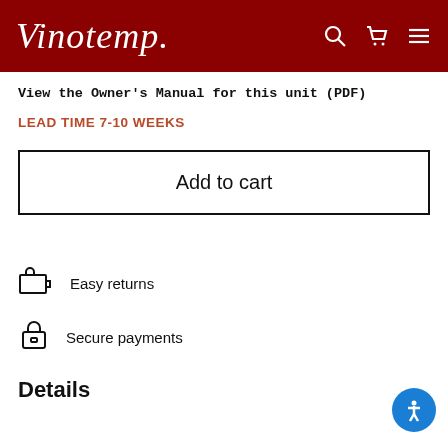Vinotemp
View the Owner's Manual for this unit (PDF)
LEAD TIME 7-10 WEEKS
Add to cart
Easy returns
Secure payments
Details